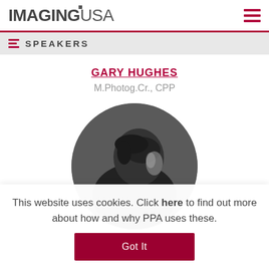IMAGINGUSA
SPEAKERS
GARY HUGHES
M.Photog.Cr., CPP
[Figure (photo): Black and white circular portrait photo of Gary Hughes, showing a person from behind/side with dark hair]
This website uses cookies. Click here to find out more about how and why PPA uses these.
Got It